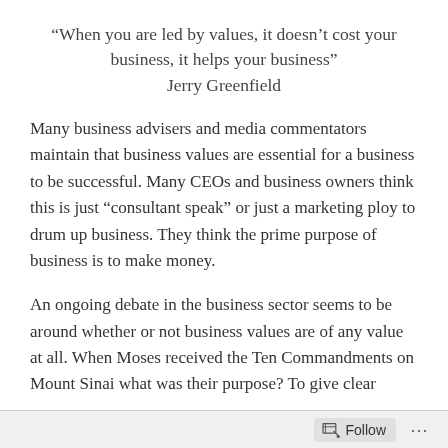“When you are led by values, it doesn’t cost your business, it helps your business” Jerry Greenfield
Many business advisers and media commentators maintain that business values are essential for a business to be successful. Many CEOs and business owners think this is just “consultant speak” or just a marketing ploy to drum up business. They think the prime purpose of business is to make money.
An ongoing debate in the business sector seems to be around whether or not business values are of any value at all. When Moses received the Ten Commandments on Mount Sinai what was their purpose? To give clear
Follow ...